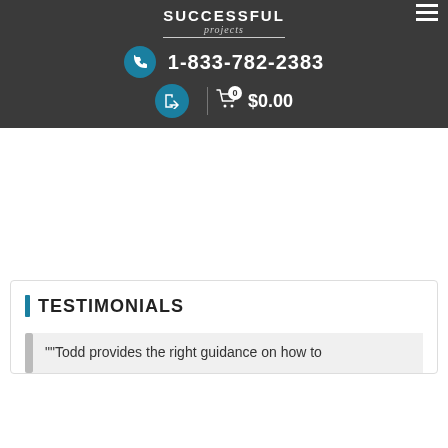Successful projects
1-833-782-2383
$0.00
TESTIMONIALS
""Todd provides the right guidance on how to